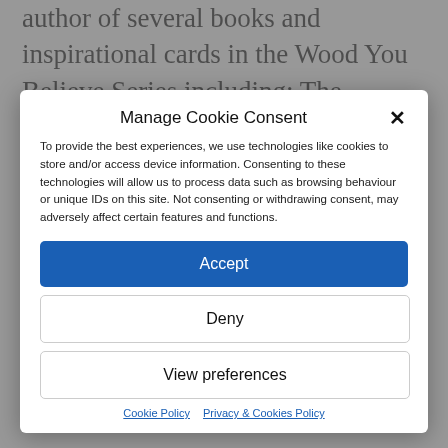author of several books and inspirational cards in the Wood You Believe Series including: The Unfolding Self, The Ancestral Self. The Twinless Self and The Spiritual
Manage Cookie Consent
To provide the best experiences, we use technologies like cookies to store and/or access device information. Consenting to these technologies will allow us to process data such as browsing behaviour or unique IDs on this site. Not consenting or withdrawing consent, may adversely affect certain features and functions.
Accept
Deny
View preferences
Cookie Policy   Privacy & Cookies Policy